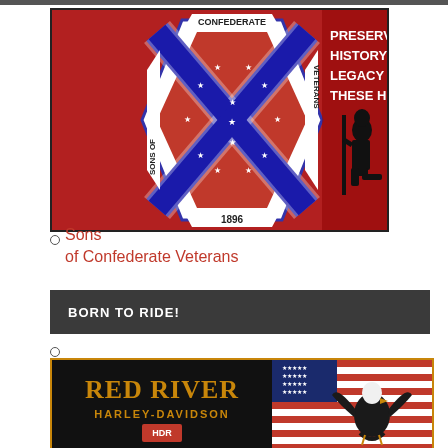[Figure (logo): Sons of Confederate Veterans logo banner. Red background with Confederate battle flag emblem on left side, text 'CONFEDERATE' at top, 'SONS OF' vertically on left, 'VETERANS' vertically on right, '1896' at bottom. Right side shows bold white text 'PRESERVING THE HISTORY AND LEGACY OF THESE HEROES.' with silhouette of kneeling soldier.]
Sons of Confederate Veterans
BORN TO RIDE!
[Figure (logo): Red River Harley-Davidson logo on black background with gold lettering, alongside image of bald eagle over American flag.]